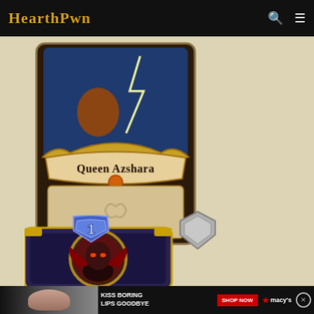HearthPwn
[Figure (illustration): Hearthstone card for Queen Azshara with golden card frame, character art at top, name banner in middle, empty text box below, shown on a tan/beige background]
[Figure (illustration): Blue mana gem with number 1, and a Hearthstone hero portrait card showing a demon-like character with glowing eyes on a dark purple/blue background with gold frame]
[Figure (illustration): Advertisement banner showing a woman with red lips, text KISS BORING LIPS GOODBYE, SHOP NOW button, and Macy's logo with red star]